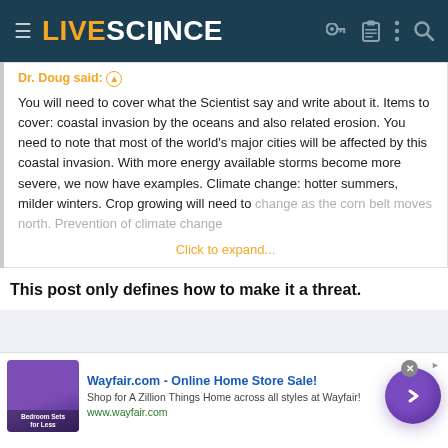LIVE SCIENCE
Dr. Doug said: ⊕
You will need to cover what the Scientist say and write about it. Items to cover: coastal invasion by the oceans and also related erosion. You need to note that most of the world's major cities will be affected by this coastal invasion. With more energy available storms become more severe, we now have examples. Climate change: hotter summers, milder winters. Crop growing will need to change as the corn belt moves north. Prevention of climate change
Click to expand...
This post only defines how to make it a threat.
[Figure (other): Wayfair.com advertisement banner with bedroom furniture image, ad title 'Wayfair.com - Online Home Store Sale!', subtitle 'Shop for A Zillion Things Home across all styles at Wayfair!', url 'www.wayfair.com', close button, and purple circular arrow button]